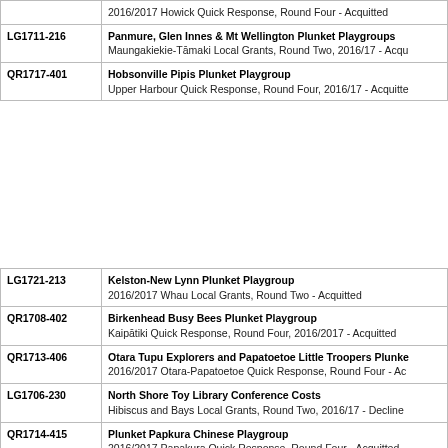| ID | Grant Details |
| --- | --- |
|  | 2016/2017 Howick Quick Response, Round Four -  Acquitted |
| LG1711-216 | Panmure, Glen Innes & Mt Wellington Plunket Playgroups
Maungakiekie-Tāmaki Local Grants, Round Two, 2016/17 -  Acqu… |
| QR1717-401 | Hobsonville Pipis Plunket Playgroup
Upper Harbour Quick Response, Round Four, 2016/17 -  Acquitte… |
| ID | Grant Details |
| --- | --- |
| LG1721-213 | Kelston-New Lynn Plunket Playgroup
2016/2017 Whau Local Grants, Round Two -  Acquitted |
| QR1708-402 | Birkenhead Busy Bees Plunket Playgroup
Kaipātiki Quick Response, Round Four, 2016/2017 -  Acquitted |
| QR1713-406 | Otara Tupu Explorers and Papatoetoe Little Troopers Plunke…
2016/2017 Otara-Papatoetoe Quick Response, Round Four -  Ac… |
| LG1706-230 | North Shore Toy Library Conference Costs
Hibiscus and Bays Local Grants, Round Two, 2016/17 -  Declined… |
| QR1714-415 | Plunket Papkura Chinese Playgroup
2016/2017 Papakura Quick Response, Round Four -  Acquitted |
| QR1709-309 | Otahuhu Plunket Playgroup
2016/2017 Māngere-Ōtāhuhu Quick Response, Round Three -  A… |
| QR1714-348 | …and the Council for Pl… Pla… |